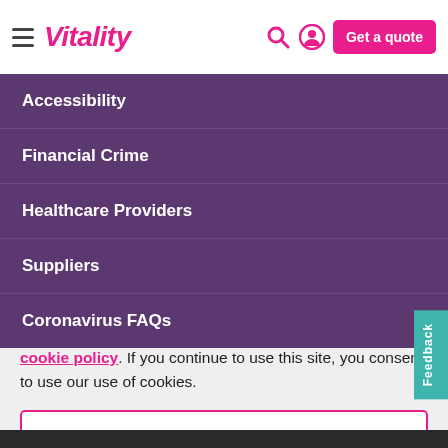Vitality — Get a quote
Accessibility
Financial Crime
Healthcare Providers
Suppliers
Coronavirus FAQs
Vitality.co.uk uses cookies to offer you a better browsing experience, analyse site traffic, and serve relevant personalised content and advertisements. Read about how we use cookies and how you can control them in our cookie policy. If you continue to use this site, you consent to use our use of cookies.
Accept cookies